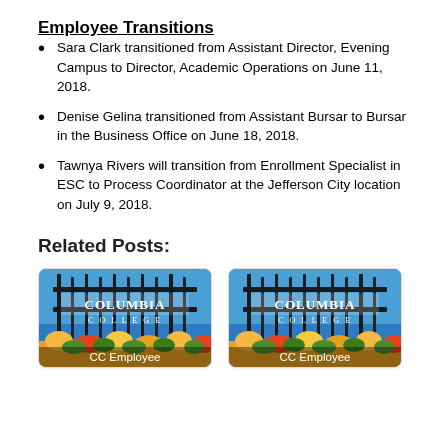Employee Transitions
Sara Clark transitioned from Assistant Director, Evening Campus to Director, Academic Operations on June 11, 2018.
Denise Gelina transitioned from Assistant Bursar to Bursar in the Business Office on June 18, 2018.
Tawnya Rivers will transition from Enrollment Specialist in ESC to Process Coordinator at the Jefferson City location on July 9, 2018.
Related Posts:
[Figure (photo): Columbia College gate sign with flowers, labeled CC Employee]
[Figure (photo): Columbia College gate sign with flowers, labeled CC Employee]